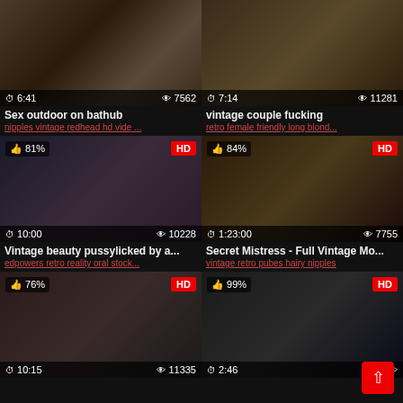[Figure (screenshot): Video thumbnail grid showing 6 adult video thumbnails with titles, tags, duration, view counts, and HD/quality badges]
Sex outdoor on bathub
nipples vintage redhead hd vide ...
vintage couple fucking
retro female friendly long blond...
Vintage beauty pussylicked by a...
edpowers retro reality oral stock...
Secret Mistress - Full Vintage Mo...
vintage retro pubes hairy nipples